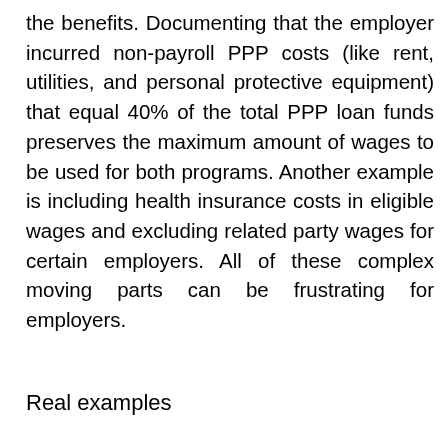the benefits. Documenting that the employer incurred non-payroll PPP costs (like rent, utilities, and personal protective equipment) that equal 40% of the total PPP loan funds preserves the maximum amount of wages to be used for both programs. Another example is including health insurance costs in eligible wages and excluding related party wages for certain employers. All of these complex moving parts can be frustrating for employers.
Real examples